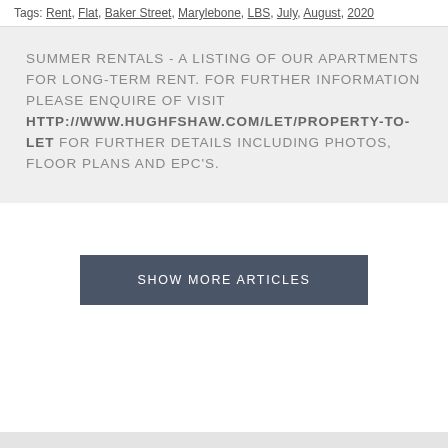Tags: Rent, Flat, Baker Street, Marylebone, LBS, July, August, 2020
SUMMER RENTALS - A LISTING OF OUR APARTMENTS FOR LONG-TERM RENT. FOR FURTHER INFORMATION PLEASE ENQUIRE OF VISIT HTTP://WWW.HUGHFSHAW.COM/LET/PROPERTY-TO-LET FOR FURTHER DETAILS INCLUDING PHOTOS, FLOOR PLANS AND EPC'S.
SHOW MORE ARTICLES